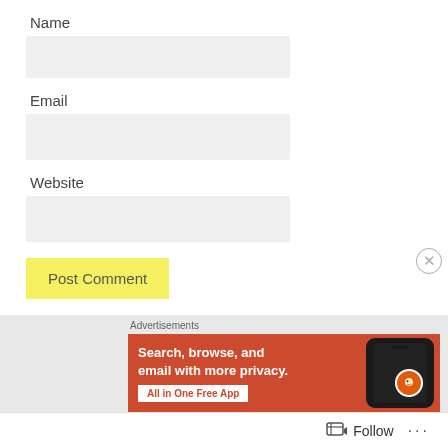Name
Email
Website
Post Comment
Notify me of new posts via email.
Advertisements
[Figure (screenshot): DuckDuckGo advertisement banner with orange background showing a smartphone. Text reads 'Search, browse, and email with more privacy.' with a button 'All in One Free App']
Follow ...